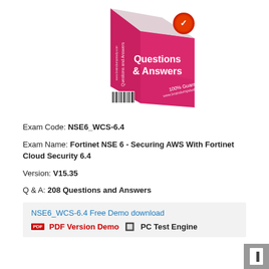[Figure (illustration): Pink/red 3D product box labeled 'Questions & Answers' with '100% Guarantee to Pass Exam' text and a gold badge seal]
Exam Code: NSE6_WCS-6.4
Exam Name: Fortinet NSE 6 - Securing AWS With Fortinet Cloud Security 6.4
Version: V15.35
Q & A: 208 Questions and Answers
NSE6_WCS-6.4 Free Demo download
PDF Version Demo  PC Test Engine